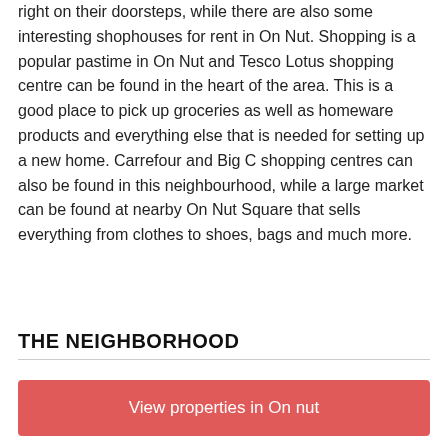right on their doorsteps, while there are also some interesting shophouses for rent in On Nut. Shopping is a popular pastime in On Nut and Tesco Lotus shopping centre can be found in the heart of the area. This is a good place to pick up groceries as well as homeware products and everything else that is needed for setting up a new home. Carrefour and Big C shopping centres can also be found in this neighbourhood, while a large market can be found at nearby On Nut Square that sells everything from clothes to shoes, bags and much more.
THE NEIGHBORHOOD
View properties in On nut